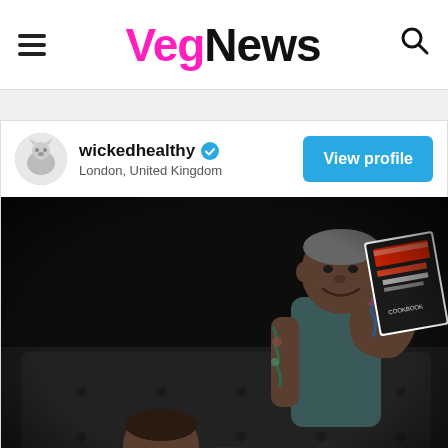VegNews
wickedhealthy · London, United Kingdom
[Figure (screenshot): Instagram post from 'wickedhealthy' account (London, United Kingdom), showing a dark moody photo of two tattooed men on a tufted dark sofa, one holding up a 'Wicked Healthy Cookbook'. A 'View profile' button appears in the top right of the card.]